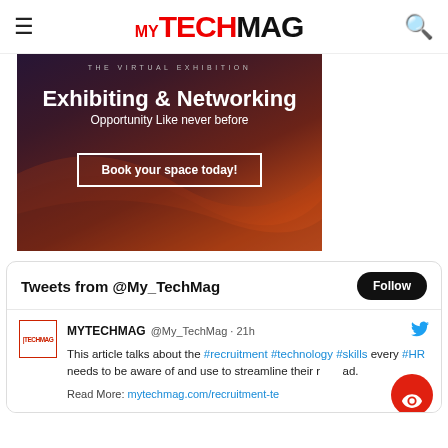MyTechMag navigation bar with hamburger menu, MY TECH MAG logo, and search icon
[Figure (illustration): Advertisement banner with dark purple-to-orange gradient background. Text: 'THE VIRTUAL EXHIBITION', 'Exhibiting & Networking', 'Opportunity Like never before', button: 'Book your space today!']
Tweets from @My_TechMag
MYTECHMAG @My_TechMag · 21h
This article talks about the #recruitment #technology #skills every #HR needs to be aware of and use to streamline their read.
Read More: mytechmag.com/recruitment-te